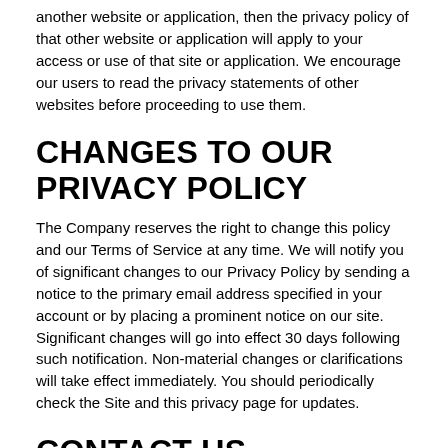another website or application, then the privacy policy of that other website or application will apply to your access or use of that site or application. We encourage our users to read the privacy statements of other websites before proceeding to use them.
CHANGES TO OUR PRIVACY POLICY
The Company reserves the right to change this policy and our Terms of Service at any time. We will notify you of significant changes to our Privacy Policy by sending a notice to the primary email address specified in your account or by placing a prominent notice on our site. Significant changes will go into effect 30 days following such notification. Non-material changes or clarifications will take effect immediately. You should periodically check the Site and this privacy page for updates.
CONTACT US
If you have any questions regarding this Privacy Policy or the practices of this Site, please contact us.